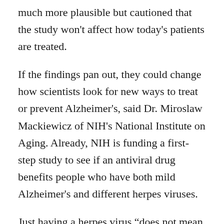much more plausible but cautioned that the study won't affect how today's patients are treated.
If the findings pan out, they could change how scientists look for new ways to treat or prevent Alzheimer's, said Dr. Miroslaw Mackiewicz of NIH's National Institute on Aging. Already, NIH is funding a first-step study to see if an antiviral drug benefits people who have both mild Alzheimer's and different herpes viruses.
Just having a herpes virus “does not mean you’re going to get Alzheimer’s,” Mass General’s Tanzi stressed. It may not even have penetrated the brain.
But in another study soon to be published, Tanzi